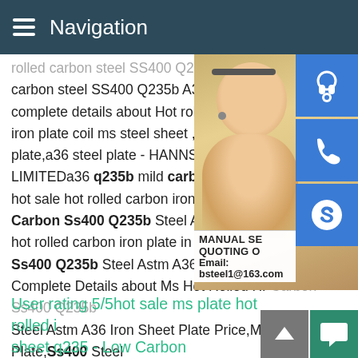Navigation
rolled carbon steel SS400 Q235b A36 iron carbon steel SS400 Q235b A36 iron plate complete details about Hot rolled carbon s iron plate coil ms steel sheet ,Astm steel p plate,a36 steel plate - HANNSTAR INDUSLIMITEDa36 q235b mild carbon steel she hot sale hot rolled carbon iron plate in 201 Carbon Ss400 Q235b Steel Astm A36 Iro hot rolled carbon iron plate in 2018#183; M Ss400 Q235b Steel Astm A36 Iron Sheet Complete Details about Ms Hot Rolled Hr Carbon Ss400 Q235b Steel Astm A36 Iron Sheet Plate Price,Ms Steel Plate,Ss400 Steel Sheet Plate,A36 Mild Carbon Steel Plate from Supplier or Manufacturer Wuxi Mingshang Special Steel Co.,
[Figure (photo): Woman with headset customer service representative, with blue icon buttons for chat/call/Skype on the right side and a popup showing MANUAL SE, QUOTING O, Email: bsteel1@163.com]
User rating 5/5hot sale ms plate hot rolled i sheet q235 - Low Carbon